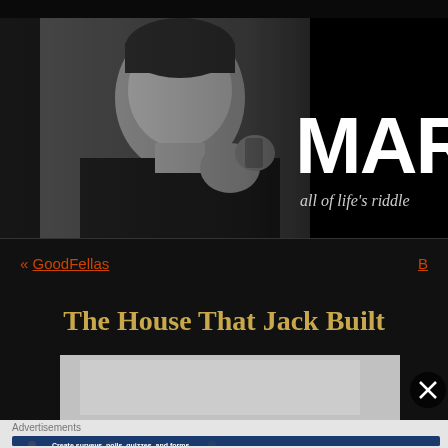[Figure (photo): Black and white photo of a man in a dark suit, looking thoughtful, with text overlay 'MARK' and 'all of life's riddle' on dark background banner]
« GoodFellas
The House That Jack Built
[Figure (photo): Partial image strip showing grey/white tones, with close button (X) on right]
Advertisements
[Figure (screenshot): Advertisement banner: 'Create surveys, polls, quizzes, and forms.' with WordPress and SurveyMonkey logos on dark starry background]